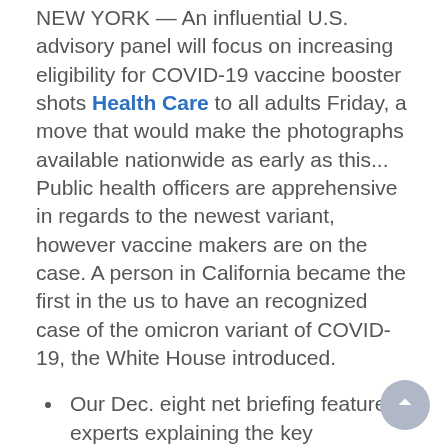NEW YORK — An influential U.S. advisory panel will focus on increasing eligibility for COVID-19 vaccine booster shots Health Care to all adults Friday, a move that would make the photographs available nationwide as early as this... Public health officers are apprehensive in regards to the newest variant, however vaccine makers are on the case. A person in California became the first in the us to have an recognized case of the omicron variant of COVID-19, the White House introduced.
Our Dec. eight net briefing featured experts explaining the key prescription drug provisions in the House-passed budget reconciliation invoice, examining public support and discussing prospects for passage in the Senate.
It comes a day after health officials in San Francisco, California, revealed the primary U.S.